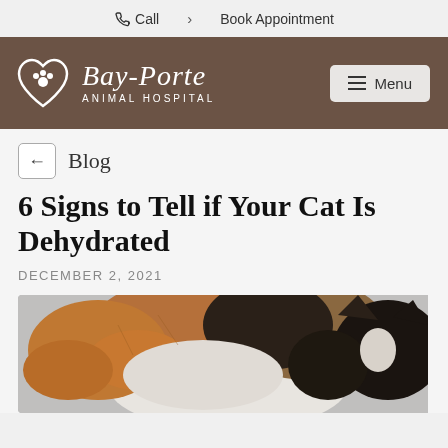Call  >  Book Appointment
[Figure (logo): Bay-Porte Animal Hospital logo with heart and paw print icon, white on brown background, with Menu button]
← Blog
6 Signs to Tell if Your Cat Is Dehydrated
DECEMBER 2, 2021
[Figure (photo): Close-up photo of a calico cat with black, orange, and white fur, viewed from above/side]